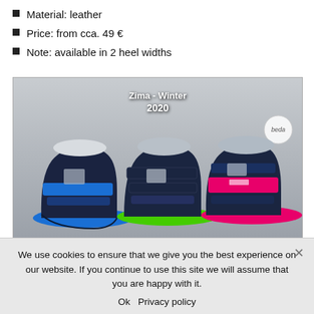Material: leather
Price: from cca. 49 €
Note: available in 2 heel widths
[Figure (photo): Three children's winter boots (Beda Boty, Zima - Winter 2020 collection): one with blue sole, one with green sole, one with pink sole. All navy blue leather upper with velcro straps and white/grey lining. Beda logo in corner.]
Pictures are published with the kind permission of Beda Boty.
We use cookies to ensure that we give you the best experience on our website. If you continue to use this site we will assume that you are happy with it.
Ok  Privacy policy